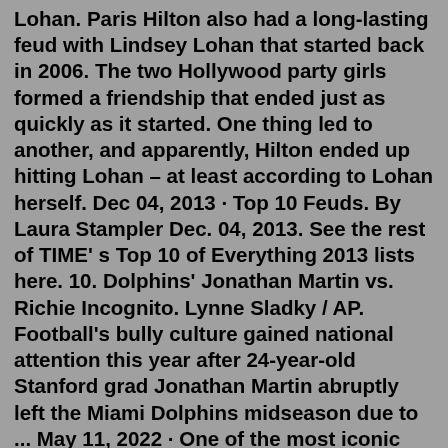Lohan. Paris Hilton also had a long-lasting feud with Lindsey Lohan that started back in 2006. The two Hollywood party girls formed a friendship that ended just as quickly as it started. One thing led to another, and apparently, Hilton ended up hitting Lohan – at least according to Lohan herself. Dec 04, 2013 · Top 10 Feuds. By Laura Stampler Dec. 04, 2013. See the rest of TIME' s Top 10 of Everything 2013 lists here. 10. Dolphins' Jonathan Martin vs. Richie Incognito. Lynne Sladky / AP. Football's bully culture gained national attention this year after 24-year-old Stanford grad Jonathan Martin abruptly left the Miami Dolphins midseason due to ... May 11, 2022 · One of the most iconic feuds of the '00s, Paris and Lindsay low-key hated each other for years. They started out as friends, but in 2006 Lindsay claimed that Paris had thrown a drink at her, and ... Weirdest feuds in pop music history? I'll start. Mariah Carey and Eminem. Just… why? I think that the modern equivalent of that would Machine Gun Kelly calling out Beyoncé in